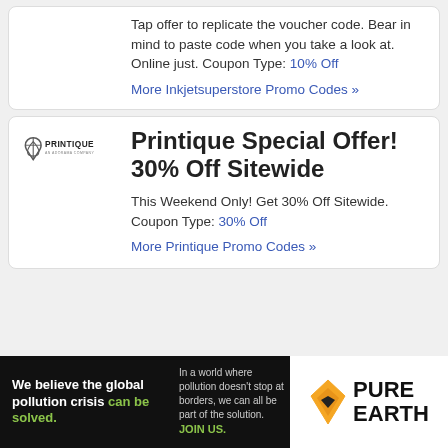Tap offer to replicate the voucher code. Bear in mind to paste code when you take a look at. Online just. Coupon Type: 10% Off
More Inkjetsuperstore Promo Codes »
[Figure (logo): Printique - An Adorama Company logo]
Printique Special Offer! 30% Off Sitewide
This Weekend Only! Get 30% Off Sitewide. Coupon Type: 30% Off
More Printique Promo Codes »
[Figure (infographic): Pure Earth ad banner: 'We believe the global pollution crisis can be solved.' with Pure Earth logo]